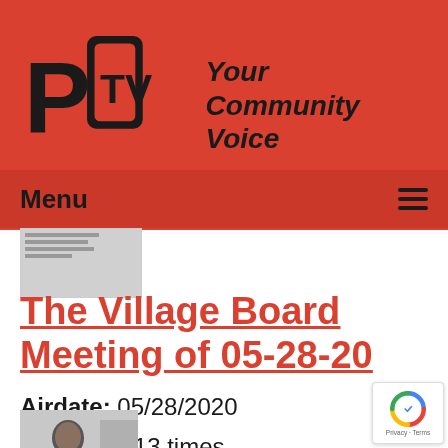[Figure (logo): PCTV logo with text 'Your Community Voice' on red background]
Menu
[Figure (thumbnail): Small thumbnail image of a document]
The Village Board Meeting of 05-28-20
Airdate: 05/28/2020
Watched: 13 times
[Figure (photo): Photo of a man outdoors, wearing a blue jacket]